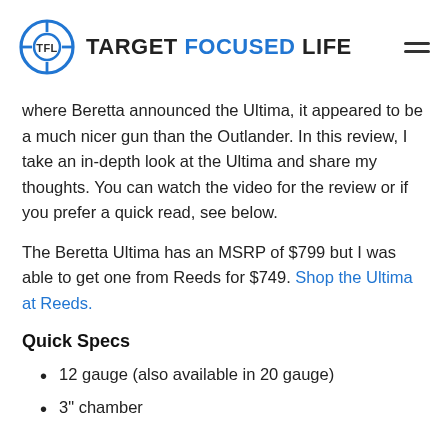TARGET FOCUSED LIFE
where Beretta announced the Ultima, it appeared to be a much nicer gun than the Outlander. In this review, I take an in-depth look at the Ultima and share my thoughts. You can watch the video for the review or if you prefer a quick read, see below.
The Beretta Ultima has an MSRP of $799 but I was able to get one from Reeds for $749. Shop the Ultima at Reeds.
Quick Specs
12 gauge (also available in 20 gauge)
3" chamber